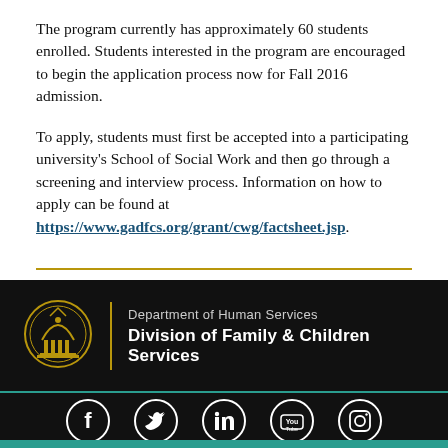The program currently has approximately 60 students enrolled. Students interested in the program are encouraged to begin the application process now for Fall 2016 admission.
To apply, students must first be accepted into a participating university's School of Social Work and then go through a screening and interview process. Information on how to apply can be found at https://www.gadfcs.org/grant/cwg/factsheet.jsp.
[Figure (logo): Georgia Department of Human Services seal - gold circular emblem with columns]
Department of Human Services Division of Family & Children Services
[Figure (infographic): Social media icons: Facebook, Twitter, LinkedIn, YouTube, Instagram - white outlined circles on black background]